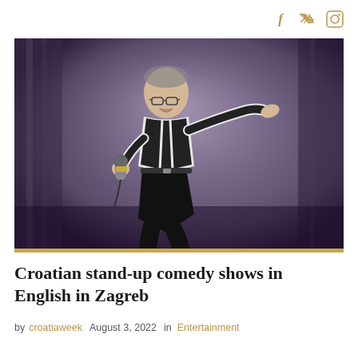Social media icons: Facebook, Twitter, Instagram
[Figure (photo): A man in a black vest and white shirt holding a microphone, leaning forward on stage in front of purple curtains, performing stand-up comedy]
Croatian stand-up comedy shows in English in Zagreb
by croatiaweek  August 3, 2022  in  Entertainment